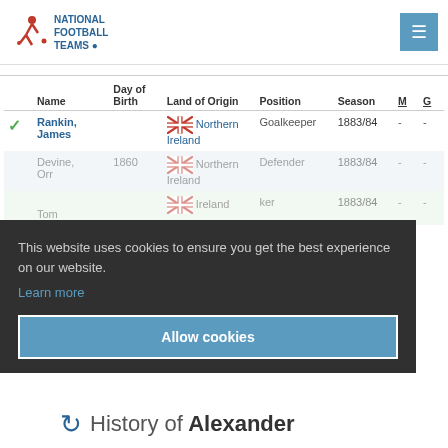National Football Teams
|  | Name | Day of Birth | Land of Origin | Position | Season | M | G |
| --- | --- | --- | --- | --- | --- | --- | --- |
| ✓ | Rankin, James |  | Northern Ireland | Goalkeeper | 1883/84 | - | - |
|  | Devine, Orr | 1860 | Northern Ireland | Defender | 1883/84 | - | - |
|  | [name], Tom |  | Northern Ireland | [Goalkeeper?] | 1883/84 | - | - |
This website uses cookies to ensure you get the best experience on our website.
Learn more
Allow cookies
History of Alexander